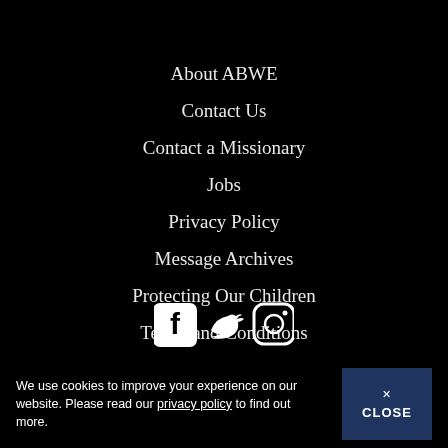About ABWE
Contact Us
Contact a Missionary
Jobs
Privacy Policy
Message Archives
Protecting Our Children
Terms and Conditions
[Figure (illustration): Social media icons: Facebook, Twitter, Instagram in white on black background]
We use cookies to improve your experience on our website. Please read our privacy policy to find out more.
× CLOSE